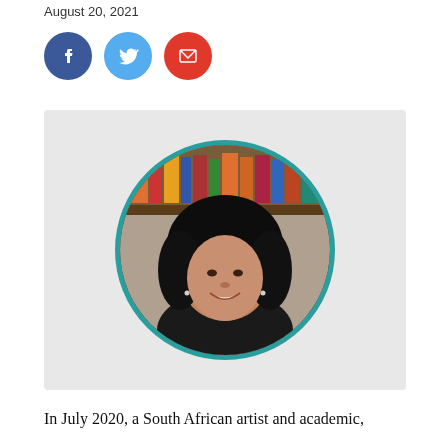August 20, 2021
[Figure (other): Social media sharing icons: Facebook (blue circle), Twitter (light blue circle), Email (red circle)]
[Figure (photo): Portrait photo of a South African woman with curly black hair, smiling, in front of a bookshelf. The photo is displayed in a circular frame with a teal border, set against a light grey rectangular background.]
In July 2020, a South African artist and academic,